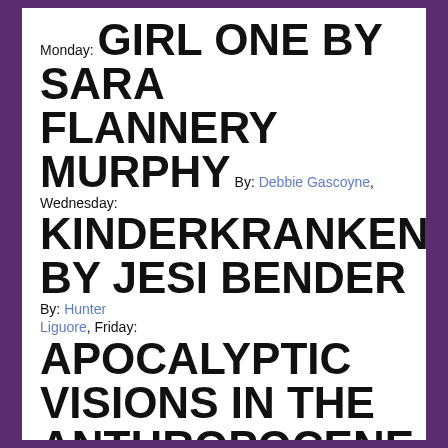Monday: GIRL ONE BY SARA FLANNERY MURPHY By: Debbie Gascoyne, Wednesday: KINDERKRANKENHAUS BY JESI BENDER By: Hunter Liguore, Friday: APOCALYPTIC VISIONS IN THE ANTHROPOCENE AND THE RISE OF CLIMATE FICTION EDITED BY